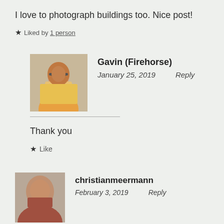I love to photograph buildings too. Nice post!
★ Liked by 1 person
[Figure (photo): Avatar photo of Gavin (Firehorse), a person wearing glasses and a yellow shirt]
Gavin (Firehorse)
January 25, 2019    Reply
Thank you
★ Like
[Figure (photo): Avatar photo of christianmeermann, a person with a camera]
christianmeermann
February 3, 2019    Reply